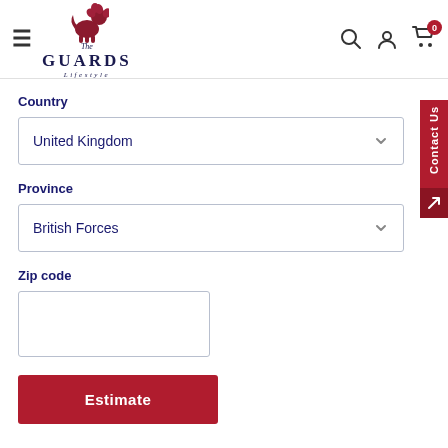[Figure (logo): The Guards Lifestyle logo with a red lion and navy text]
Country
United Kingdom
Province
British Forces
Zip code
Estimate